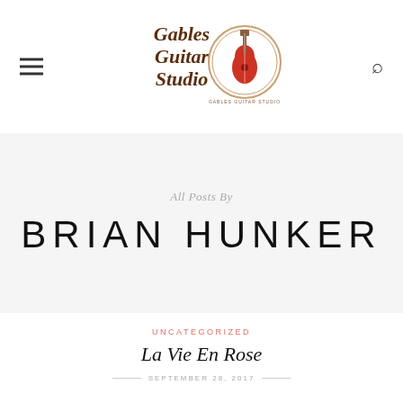Gables Guitar Studio
All Posts By
BRIAN HUNKER
UNCATEGORIZED
La Vie En Rose
SEPTEMBER 28, 2017